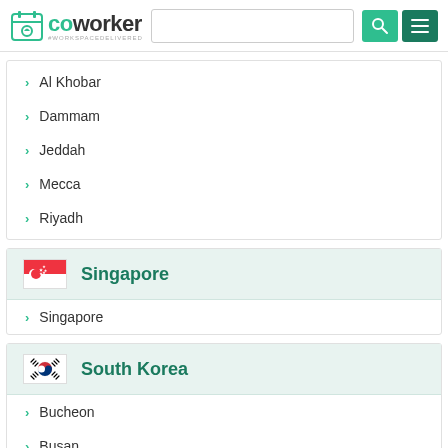coworker #WORKSPACEDELIVERED
Al Khobar
Dammam
Jeddah
Mecca
Riyadh
Singapore
Singapore
South Korea
Bucheon
Busan